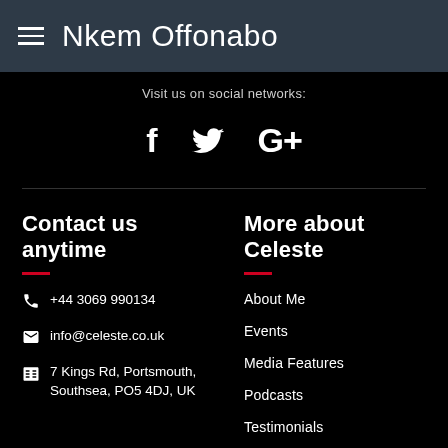Nkem Offonabo
Visit us on social networks:
[Figure (other): Social media icons: Facebook (f), Twitter (bird), Google+ (G+)]
Contact us anytime
+44 3069 990134
info@celeste.co.uk
7 Kings Rd, Portsmouth, Southsea, PO5 4DJ, UK
More about Celeste
About Me
Events
Media Features
Podcasts
Testimonials